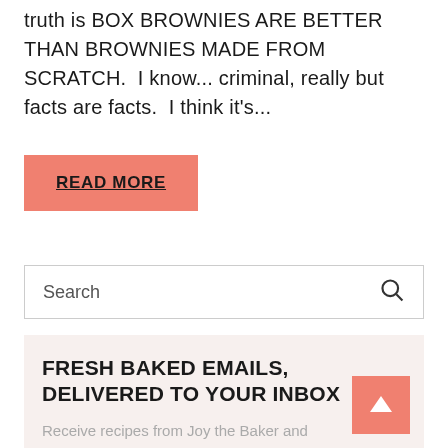truth is BOX BROWNIES ARE BETTER THAN BROWNIES MADE FROM SCRATCH.  I know... criminal, really but facts are facts.  I think it's...
READ MORE
Search
FRESH BAKED EMAILS, DELIVERED TO YOUR INBOX
Receive recipes from Joy the Baker and